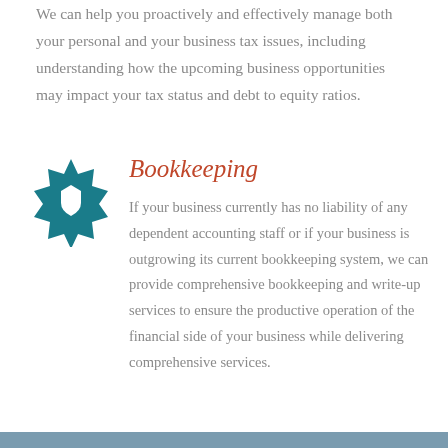We can help you proactively and effectively manage both your personal and your business tax issues, including understanding how the upcoming business opportunities may impact your tax status and debt to equity ratios.
[Figure (illustration): Teal/dark cyan badge/seal icon with a shield and checkmark in the center]
Bookkeeping
If your business currently has no liability of any dependent accounting staff or if your business is outgrowing its current bookkeeping system, we can provide comprehensive bookkeeping and write-up services to ensure the productive operation of the financial side of your business while delivering comprehensive services.